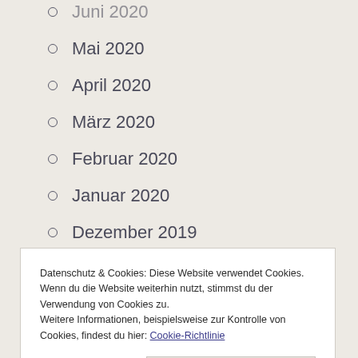Juni 2020
Mai 2020
April 2020
März 2020
Februar 2020
Januar 2020
Dezember 2019
November 2019
Datenschutz & Cookies: Diese Website verwendet Cookies. Wenn du die Website weiterhin nutzt, stimmst du der Verwendung von Cookies zu. Weitere Informationen, beispielsweise zur Kontrolle von Cookies, findest du hier: Cookie-Richtlinie
Mai 2019